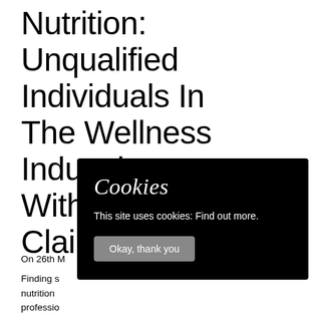Nutrition: Unqualified Individuals In The Wellness Industries With False Claims & NO
On 26th M...
Finding s... nutrition... professio... days tryi... understand nutrition information based on
[Figure (other): Cookie consent overlay popup with dark background. Title 'Cookies' in italic serif font. Text: 'This site uses cookies: Find out more.' Button: 'Okay, thank you']